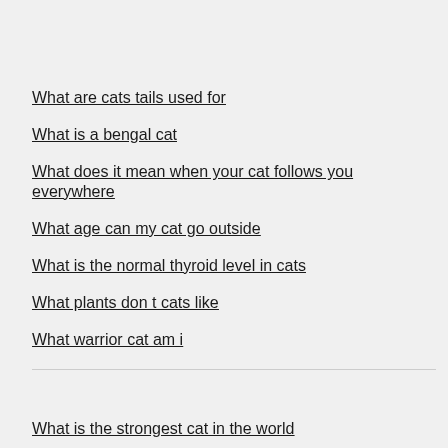What are cats tails used for
What is a bengal cat
What does it mean when your cat follows you everywhere
What age can my cat go outside
What is the normal thyroid level in cats
What plants don t cats like
What warrior cat am i
What is the strongest cat in the world